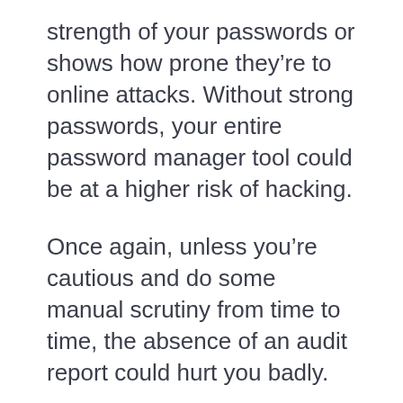strength of your passwords or shows how prone they're to online attacks. Without strong passwords, your entire password manager tool could be at a higher risk of hacking.
Once again, unless you're cautious and do some manual scrutiny from time to time, the absence of an audit report could hurt you badly.
#2. Similar to an audit report, KeePass also lacks two-factor authentication or multi-factor authentication. That's a big disadvantage of KeePass considering how